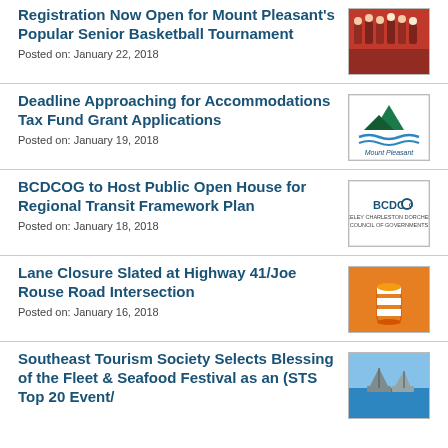Registration Now Open for Mount Pleasant's Popular Senior Basketball Tournament
Posted on: January 22, 2018
[Figure (photo): Group photo of basketball players in red uniforms]
Deadline Approaching for Accommodations Tax Fund Grant Applications
Posted on: January 19, 2018
[Figure (logo): Mount Pleasant logo with mountain and water graphic]
BCDCOG to Host Public Open House for Regional Transit Framework Plan
Posted on: January 18, 2018
[Figure (logo): BCDCOG Berkeley Charleston Dorchester Council of Governments logo]
Lane Closure Slated at Highway 41/Joe Rouse Road Intersection
Posted on: January 16, 2018
[Figure (photo): Orange traffic barrel/cone for road construction]
Southeast Tourism Society Selects Blessing of the Fleet & Seafood Festival as an (STS Top 20 Event/
[Figure (photo): Boats on water at seafood festival]